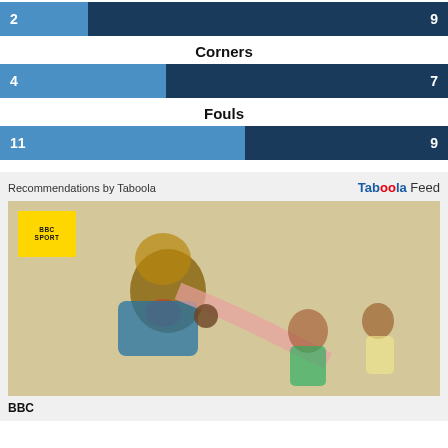[Figure (infographic): Shots on Target stat bar: left team 2 (light blue), right team 9 (dark blue)]
Corners
[Figure (infographic): Corners stat bar: left team 4 (light blue), right team 7 (dark blue)]
Fouls
[Figure (infographic): Fouls stat bar: left team 11 (light blue), right team 9 (dark blue)]
[Figure (illustration): Taboola Feed recommendation area with BBC Sport badge and a Victorian-era comic illustration showing a chaotic scene]